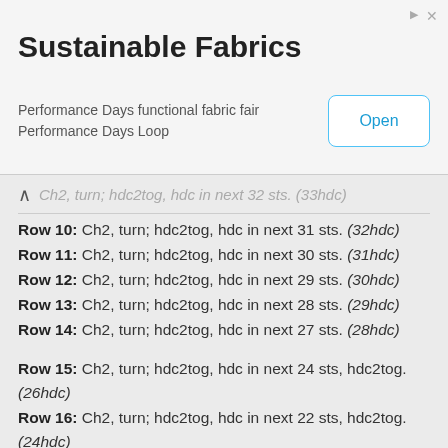[Figure (other): Advertisement banner for Sustainable Fabrics — Performance Days functional fabric fair, Performance Days Loop, with an Open button]
Row 10: Ch2, turn; hdc2tog, hdc in next 31 sts. (32hdc)
Row 11: Ch2, turn; hdc2tog, hdc in next 30 sts. (31hdc)
Row 12: Ch2, turn; hdc2tog, hdc in next 29 sts. (30hdc)
Row 13: Ch2, turn; hdc2tog, hdc in next 28 sts. (29hdc)
Row 14: Ch2, turn; hdc2tog, hdc in next 27 sts. (28hdc)
Row 15: Ch2, turn; hdc2tog, hdc in next 24 sts, hdc2tog. (26hdc)
Row 16: Ch2, turn; hdc2tog, hdc in next 22 sts, hdc2tog. (24hdc)
Row 17: Ch2, turn; hdc2tog, hdc in next 20 sts, hdc2tog. (22hdc)